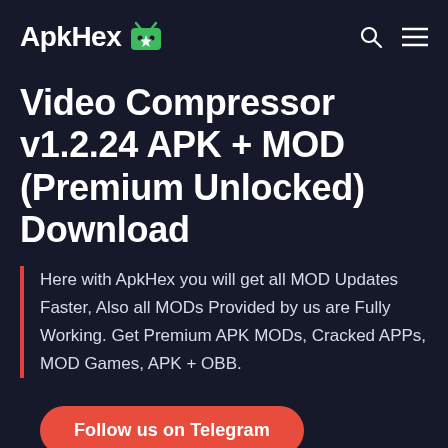ApkHex [logo]
Video Compressor v1.2.24 APK + MOD (Premium Unlocked) Download
Here with ApkHex you will get all MOD Updates Faster, Also all MODs Provided by us are Fully Working. Get Premium APK MODs, Cracked APPs, MOD Games, APK + OBB.
Follow us on Telegram